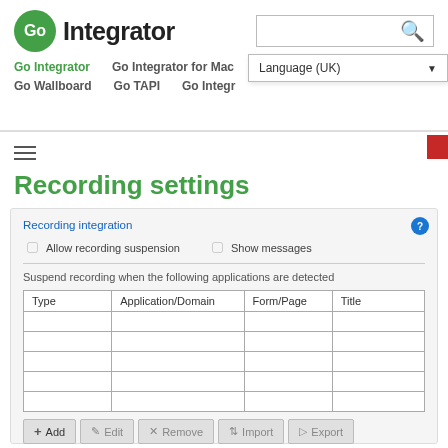Go Integrator — navigation header with logo, search, nav links and language dropdown
Recording settings
Recording integration
Allow recording suspension   Show messages
Suspend recording when the following applications are detected
| Type | Application/Domain | Form/Page | Title |
| --- | --- | --- | --- |
Add   Edit   Remove   Import   Export